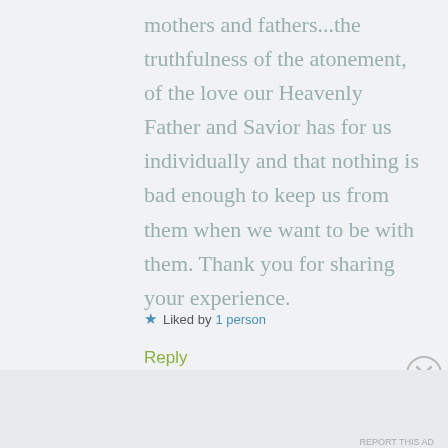mothers and fathers...the truthfulness of the atonement, of the love our Heavenly Father and Savior has for us individually and that nothing is bad enough to keep us from them when we want to be with them. Thank you for sharing your experience.
Liked by 1 person
Reply
Advertisements
[Figure (other): WordPress advertisement banner: 'Build a writing habit. Post on the go.' with GET THE APP button and WordPress logo icon]